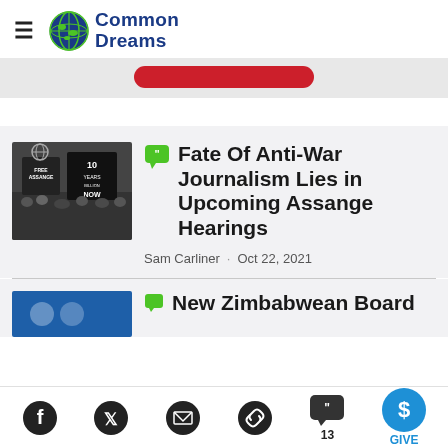Common Dreams
Fate Of Anti-War Journalism Lies in Upcoming Assange Hearings
Sam Carliner · Oct 22, 2021
New Zimbabwean Board...